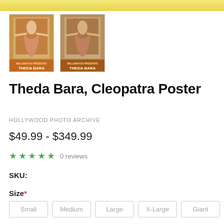[Figure (photo): Top banner with yellowish gradient background]
[Figure (photo): Two thumbnail images of Theda Bara Cleopatra vintage movie poster]
Theda Bara, Cleopatra Poster
HOLLYWOOD PHOTO ARCHIVE
$49.99 - $349.99
★ ★ ★ ★ ★  0 reviews
SKU:
Size *
Small  Medium  Large  X-Large  Giant